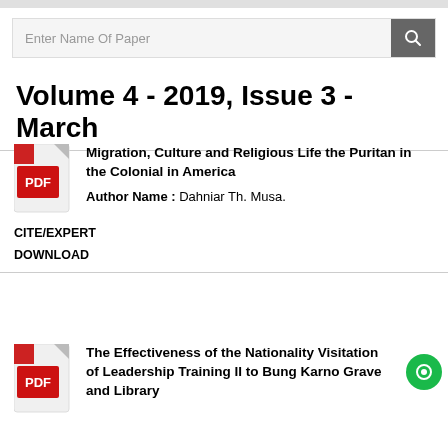Enter Name Of Paper
Volume 4 - 2019, Issue 3 - March
Migration, Culture and Religious Life the Puritan in the Colonial in America
Author Name : Dahniar Th. Musa.
CITE/EXPERT
DOWNLOAD
The Effectiveness of the Nationality Visitation of Leadership Training II to Bung Karno Grave and Library